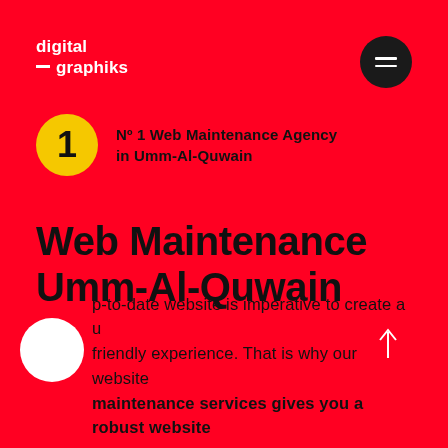[Figure (logo): digital graphiks logo in white text on red background]
[Figure (other): Dark circular hamburger menu button with three white horizontal lines]
Nº 1 Web Maintenance Agency in Umm-Al-Quwain
Web Maintenance Umm-Al-Quwain
p-to-date website is imperative to create a u friendly experience. That is why our website maintenance services gives you a robust website